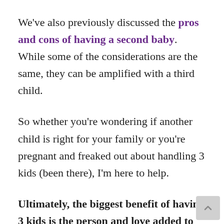We've also previously discussed the pros and cons of having a second baby. While some of the considerations are the same, they can be amplified with a third child.
So whether you're wondering if another child is right for your family or you're pregnant and freaked out about handling 3 kids (been there), I'm here to help.
Ultimately, the biggest benefit of having 3 kids is the person and love added to your family.